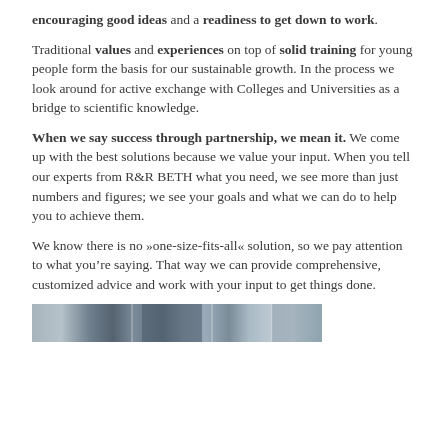encouraging good ideas and a readiness to get down to work.
Traditional values and experiences on top of solid training for young people form the basis for our sustainable growth. In the process we look around for active exchange with Colleges and Universities as a bridge to scientific knowledge.
When we say success through partnership, we mean it. We come up with the best solutions because we value your input. When you tell our experts from R&R BETH what you need, we see more than just numbers and figures; we see your goals and what we can do to help you to achieve them.
We know there is no »one-size-fits-all« solution, so we pay attention to what you’re saying. That way we can provide comprehensive, customized advice and work with your input to get things done.
[Figure (photo): A horizontal strip of blurred/small photographs showing people or office/work scenes in grayscale and muted tones.]